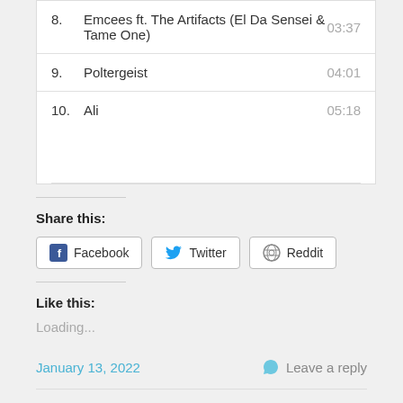| # | Title | Duration |
| --- | --- | --- |
| 8. | Emcees ft. The Artifacts (El Da Sensei & Tame One) | 03:37 |
| 9. | Poltergeist | 04:01 |
| 10. | Ali | 05:18 |
Share this:
Facebook  Twitter  Reddit
Like this:
Loading...
January 13, 2022
Leave a reply
Buckwild – Diggin' In The Tuff Kong Crates